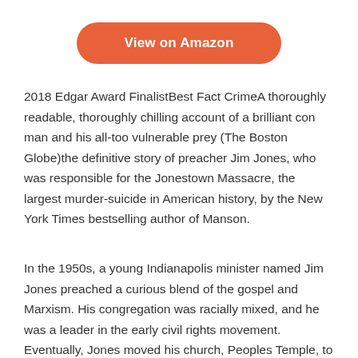[Figure (other): Orange rounded rectangle button with white bold text reading 'View on Amazon']
2018 Edgar Award FinalistBest Fact CrimeA thoroughly readable, thoroughly chilling account of a brilliant con man and his all-too vulnerable prey (The Boston Globe)the definitive story of preacher Jim Jones, who was responsible for the Jonestown Massacre, the largest murder-suicide in American history, by the New York Times bestselling author of Manson.
In the 1950s, a young Indianapolis minister named Jim Jones preached a curious blend of the gospel and Marxism. His congregation was racially mixed, and he was a leader in the early civil rights movement. Eventually, Jones moved his church, Peoples Temple, to northern